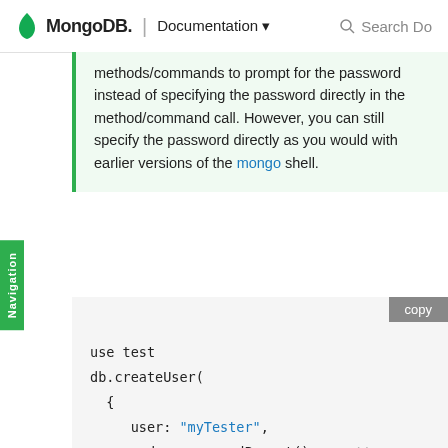MongoDB. | Documentation  Search Do
methods/commands to prompt for the password instead of specifying the password directly in the method/command call. However, you can still specify the password directly as you would with earlier versions of the mongo shell.
use test
db.createUser(
  {
    user: "myTester",
    pwd:  passwordPrompt(),    // or cleart
    roles: [ { role: "readWrite", db: "tes
                { role: "read", db: "reportin
  }